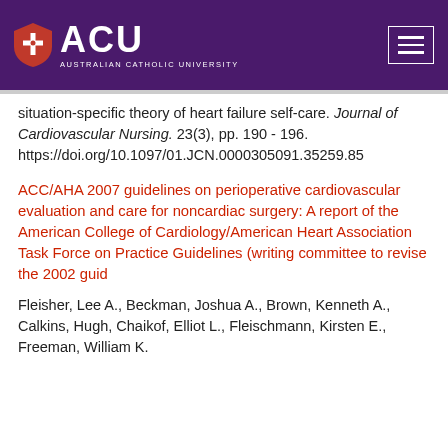ACU Australian Catholic University
situation-specific theory of heart failure self-care. Journal of Cardiovascular Nursing. 23(3), pp. 190 - 196. https://doi.org/10.1097/01.JCN.0000305091.35259.85
ACC/AHA 2007 guidelines on perioperative cardiovascular evaluation and care for noncardiac surgery: A report of the American College of Cardiology/American Heart Association Task Force on Practice Guidelines (writing committee to revise the 2002 guid
Fleisher, Lee A., Beckman, Joshua A., Brown, Kenneth A., Calkins, Hugh, Chaikof, Elliot L., Fleischmann, Kirsten E., Freeman, William K.